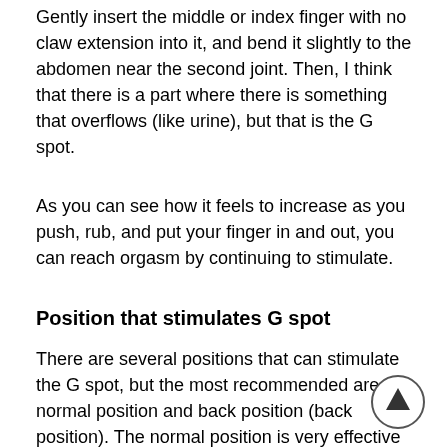Gently insert the middle or index finger with no claw extension into it, and bend it slightly to the abdomen near the second joint. Then, I think that there is a part where there is something that overflows (like urine), but that is the G spot.
As you can see how it feels to increase as you push, rub, and put your finger in and out, you can reach orgasm by continuing to stimulate.
Position that stimulates G spot
There are several positions that can stimulate the G spot, but the most recommended are the normal position and back position (back position). The normal position is very effective in stimulating almost all parts of the body, and it is easy to stimulate the G spot because a woman has wide